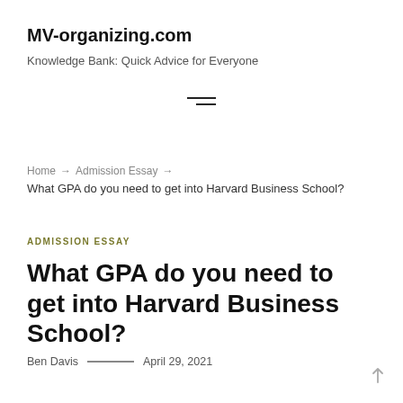MV-organizing.com
Knowledge Bank: Quick Advice for Everyone
[Figure (other): Hamburger menu icon (two horizontal lines)]
Home → Admission Essay → What GPA do you need to get into Harvard Business School?
ADMISSION ESSAY
What GPA do you need to get into Harvard Business School?
Ben Davis — April 29, 2021